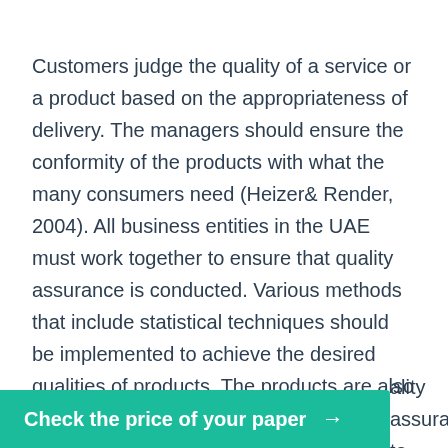Customers judge the quality of a service or a product based on the appropriateness of delivery. The managers should ensure the conformity of the products with what the many consumers need (Heizer& Render, 2004). All business entities in the UAE must work together to ensure that quality assurance is conducted. Various methods that include statistical techniques should be implemented to achieve the desired qualities of products. The products are also competitive in features such as color texture and variety (Heizer& Render, 2004).
The business deems quality assurance as a major activity being carried out as mentioned by all the respondents. Businesses gain competitive advantages [continues...] ality assurance to
Check the price of your paper →